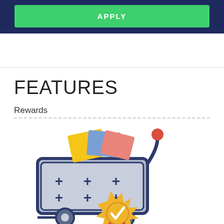APPLY
FEATURES
Rewards
[Figure (illustration): Shopping cart with plus signs and a gold checkmark badge/award seal, colorful items in cart (yellow, blue, pink cards), cart on wheels with reward badge]